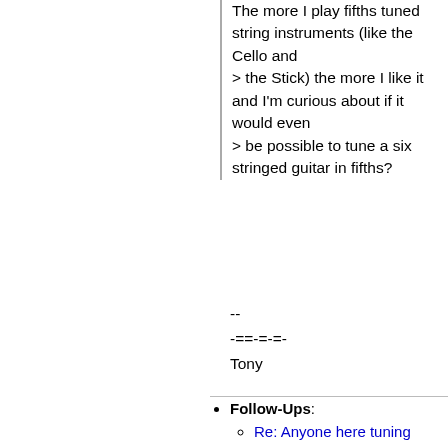The more I play fifths tuned string instruments (like the Cello and
> the Stick) the more I like it and I'm curious about if it would even
> be possible to tune a six stringed guitar in fifths?
--
-==-=-=-
Tony
Follow-Ups:
Re: Anyone here tuning guitars in fifths?
From: Per Boysen <perboysen@gm...
Re: Anyone here tuning guitars in